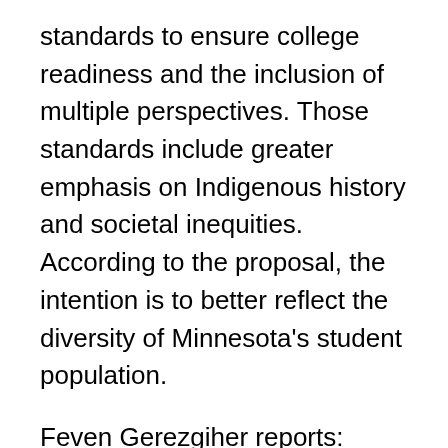standards to ensure college readiness and the inclusion of multiple perspectives. Those standards include greater emphasis on Indigenous history and societal inequities. According to the proposal, the intention is to better reflect the diversity of Minnesota's student population.
Feven Gerezgiher reports:
The Minnesota committee on K-12 Academic Standards in Social Studies is wrapping up its 10 year cycle of review and revisions. New on the agenda is ethnic